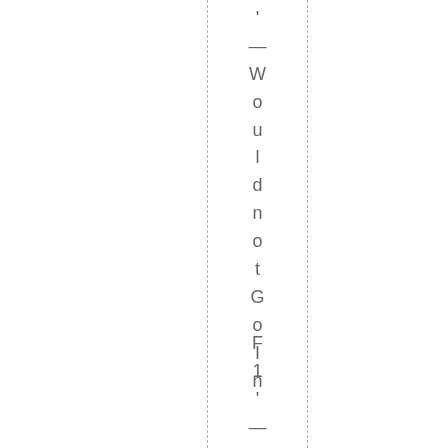' — WouldnotGoIn
F 1' — HisFath